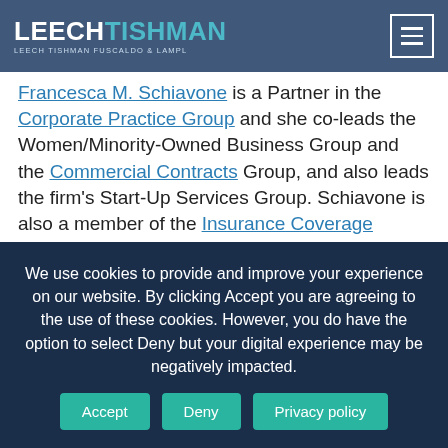Leech Tishman Fuscaldo & Lampl — Navigation bar with logo and hamburger menu
Francesca M. Schiavone is a Partner in the Corporate Practice Group and she co-leads the Women/Minority-Owned Business Group and the Commercial Contracts Group, and also leads the firm's Start-Up Services Group. Schiavone is also a member of the Insurance Coverage Group and the Cannabis Industry Group and is based in Leech Tishman's Pittsburgh office.
Michelle A. Ross is Counsel with Leech Tishman and a member of the Estates and Trusts Practice Group. She is
We use cookies to provide and improve your experience on our website. By clicking Accept you are agreeing to the use of these cookies. However, you do have the option to select Deny but your digital experience may be negatively impacted.
Accept
Deny
Privacy policy